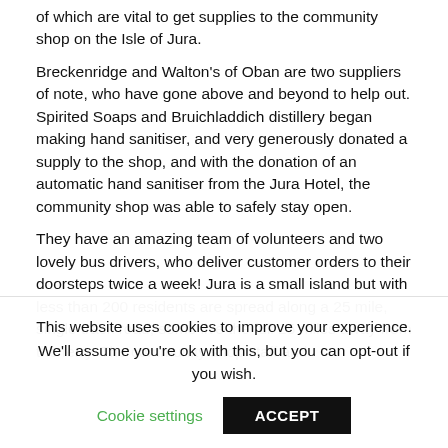of which are vital to get supplies to the community shop on the Isle of Jura.
Breckenridge and Walton's of Oban are two suppliers of note, who have gone above and beyond to help out. Spirited Soaps and Bruichladdich distillery began making hand sanitiser, and very generously donated a supply to the shop, and with the donation of an automatic hand sanitiser from the Jura Hotel, the community shop was able to safely stay open.
They have an amazing team of volunteers and two lovely bus drivers, who deliver customer orders to their doorsteps twice a week! Jura is a small island but with less than 200 residents are spread along a 25 mile, single track road, some live the full 25 miles away from the ferry. The community shop staff and
This website uses cookies to improve your experience. We'll assume you're ok with this, but you can opt-out if you wish.
Cookie settings
ACCEPT